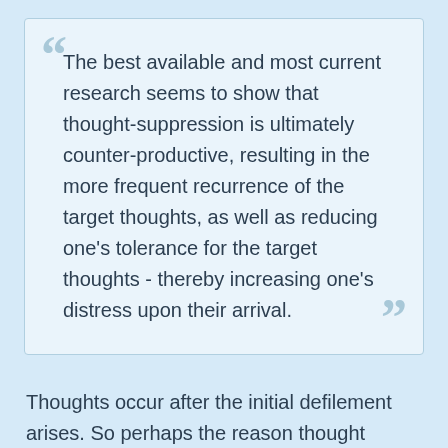The best available and most current research seems to show that thought-suppression is ultimately counter-productive, resulting in the more frequent recurrence of the target thoughts, as well as reducing one's tolerance for the target thoughts - thereby increasing one's distress upon their arrival.
Thoughts occur after the initial defilement arises. So perhaps the reason thought suppression does not work is because it is an attempt to squash the defilement at the wrong stage. Tracing it back before the